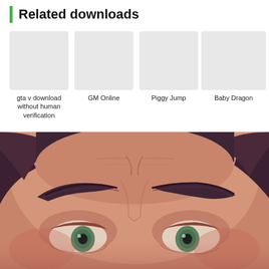Related downloads
[Figure (illustration): Thumbnail placeholder (light gray rectangle) for 'gta v download without human verification']
gta v download without human verification
[Figure (illustration): Thumbnail placeholder (light gray rectangle) for 'GM Online']
GM Online
[Figure (illustration): Thumbnail placeholder (light gray rectangle) for 'Piggy Jump']
Piggy Jump
[Figure (illustration): Thumbnail placeholder (light gray rectangle) for 'Baby Dragon']
Baby Dragon
[Figure (illustration): Close-up illustration/render of a stylized male face with dark brown hair, thick dark eyebrows, and green eyes. The image is cropped to show forehead, eyebrows, and upper portion of the eyes/nose area. The skin tone is warm/tan and the rendering style appears to be digital art or a video game character.]